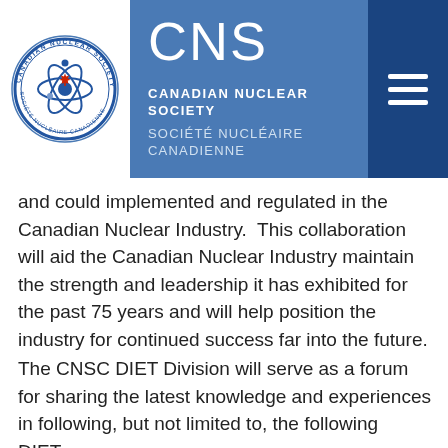[Figure (logo): Canadian Nuclear Society / Société Nucléaire Canadienne circular logo with maple leaf and atom orbit symbol]
CNS
CANADIAN NUCLEAR SOCIETY
SOCIÉTÉ NUCLÉAIRE CANADIENNE
and could implemented and regulated in the Canadian Nuclear Industry.  This collaboration will aid the Canadian Nuclear Industry maintain the strength and leadership it has exhibited for the past 75 years and will help position the industry for continued success far into the future.
The CNSC DIET Division will serve as a forum for sharing the latest knowledge and experiences in following, but not limited to, the following DIETs: